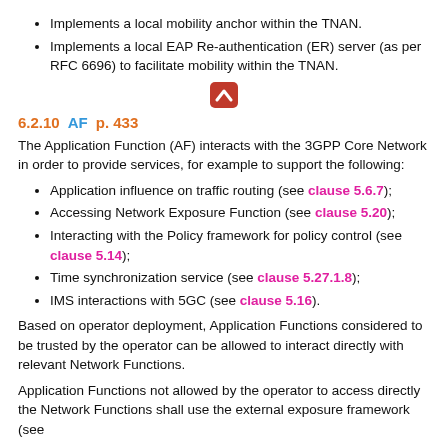Implements a local mobility anchor within the TNAN.
Implements a local EAP Re-authentication (ER) server (as per RFC 6696) to facilitate mobility within the TNAN.
[Figure (other): Navigation up arrow button (red/orange rounded square icon with white chevron up)]
6.2.10 AF p. 433
The Application Function (AF) interacts with the 3GPP Core Network in order to provide services, for example to support the following:
Application influence on traffic routing (see clause 5.6.7);
Accessing Network Exposure Function (see clause 5.20);
Interacting with the Policy framework for policy control (see clause 5.14);
Time synchronization service (see clause 5.27.1.8);
IMS interactions with 5GC (see clause 5.16).
Based on operator deployment, Application Functions considered to be trusted by the operator can be allowed to interact directly with relevant Network Functions.
Application Functions not allowed by the operator to access directly the Network Functions shall use the external exposure framework (see